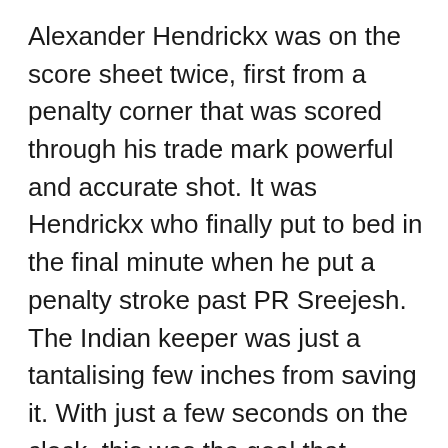Alexander Hendrickx was on the score sheet twice, first from a penalty corner that was scored through his trade mark powerful and accurate shot. It was Hendrickx who finally put to bed in the final minute when he put a penalty stroke past PR Sreejesh. The Indian keeper was just a tantalising few inches from saving it. With just a few seconds on the clock, this was the goal that sealed the match.
That said, India still didn't give up. With just 37 seconds left on the clock, Mandeep found a way through the Belgium defence and made it